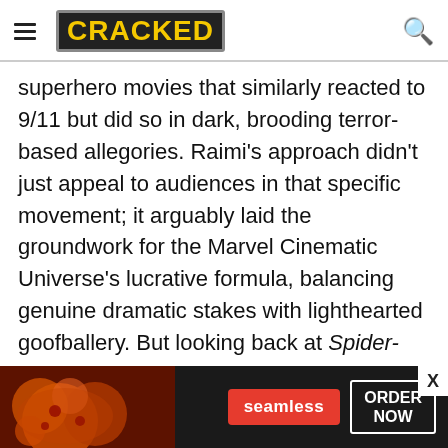CRACKED
superhero movies that similarly reacted to 9/11 but did so in dark, brooding terror-based allegories. Raimi's approach didn't just appeal to audiences in that specific movement; it arguably laid the groundwork for the Marvel Cinematic Universe's lucrative formula, balancing genuine dramatic stakes with lighthearted goofballery. But looking back at Spider-Man, it still owes much to the superhero movies that had come before, namely Burton's Batman – from the booming Danny Elfman score to the casting of Willem
[Figure (other): Seamless food delivery advertisement banner with pizza image, red Seamless button, and ORDER NOW outlined button with close X]